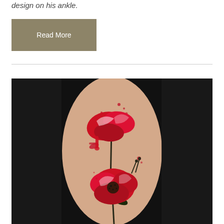design on his ankle.
Read More
[Figure (photo): A watercolor-style red poppy flower tattoo on a person's forearm, showing two large red poppy blooms with paint splatter effects on a dark background.]